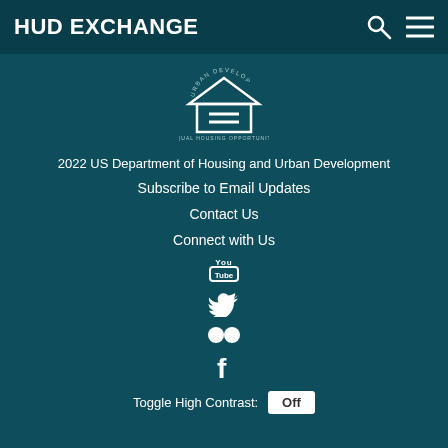HUD EXCHANGE
[Figure (logo): Equal Housing Opportunity logo — house outline with equal sign inside, 'URBAN DEVELOP' arc text above and 'EQUAL HOUSING OPPORTUNITY' text below]
2022 US Department of Housing and Urban Development
Subscribe to Email Updates
Contact Us
Connect with Us
[Figure (logo): YouTube icon]
[Figure (logo): Twitter bird icon]
[Figure (logo): Flickr two-circles icon]
[Figure (logo): Facebook f icon]
Toggle High Contrast: Off